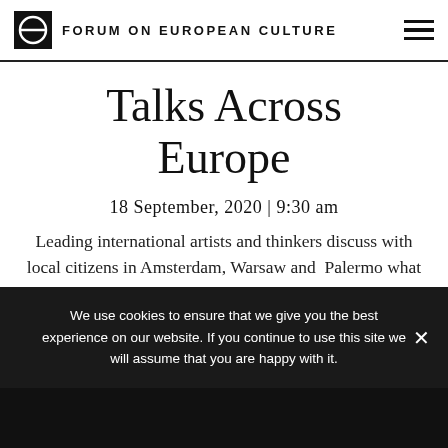FORUM ON EUROPEAN CULTURE
Talks Across Europe
18 September, 2020 | 9:30 am
Leading international artists and thinkers discuss with local citizens in Amsterdam, Warsaw and Palermo what kind of European cultural identity or demos we need as a necessary foundation for a pan-European democracy. On
We use cookies to ensure that we give you the best experience on our website. If you continue to use this site we will assume that you are happy with it.